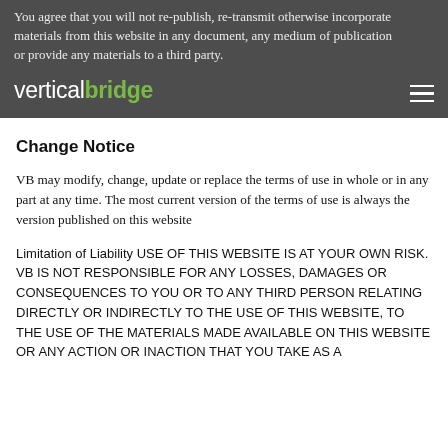You agree that you will not re-publish, re-transmit otherwise incorporate materials from this website in any document, any medium of publication or provide any materials to a third party.
[Figure (logo): Vertical Bridge logo — white text 'vertical' and green bold text 'bridge']
Change Notice
VB may modify, change, update or replace the terms of use in whole or in any part at any time. The most current version of the terms of use is always the version published on this website
Limitation of Liability USE OF THIS WEBSITE IS AT YOUR OWN RISK. VB IS NOT RESPONSIBLE FOR ANY LOSSES, DAMAGES OR CONSEQUENCES TO YOU OR TO ANY THIRD PERSON RELATING DIRECTLY OR INDIRECTLY TO THE USE OF THIS WEBSITE, TO THE USE OF THE MATERIALS MADE AVAILABLE ON THIS WEBSITE OR ANY ACTION OR INACTION THAT YOU TAKE AS A